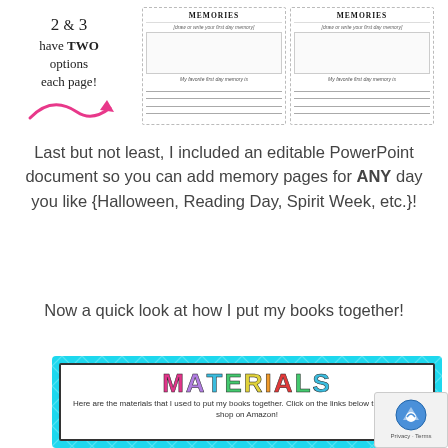[Figure (illustration): Preview of two worksheet pages side by side with 'MEMORIES' header, drawing box, and lined writing space. Handwritten text reads '2 & 3 have TWO options each page!' with a pink arrow pointing right.]
Last but not least, I included an editable PowerPoint document so you can add memory pages for ANY day you like {Halloween, Reading Day, Spirit Week, etc.}!
Now a quick look at how I put my books together!
[Figure (infographic): Colorful 'MATERIALS' graphic on teal diamond-pattern background with white inner box. Text reads: Here are the materials that I used to put my books together. Click on the links below this graphic to shop on Amazon!]